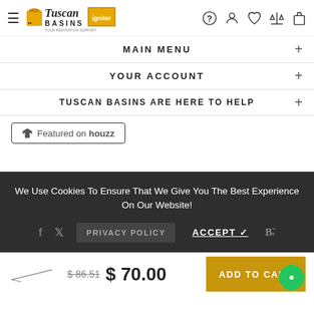[Figure (screenshot): Tuscan Basins e-commerce website header with hamburger menu, logo, and navigation icons]
MAIN MENU
YOUR ACCOUNT
TUSCAN BASINS ARE HERE TO HELP
[Figure (logo): Featured on Houzz badge button]
We Use Cookies To Ensure That We Give You The Best Experience On Our Website!
PRIVACY POLICY   ACCEPT ✓
$ 86.51  $ 70.00
ADD TO CART